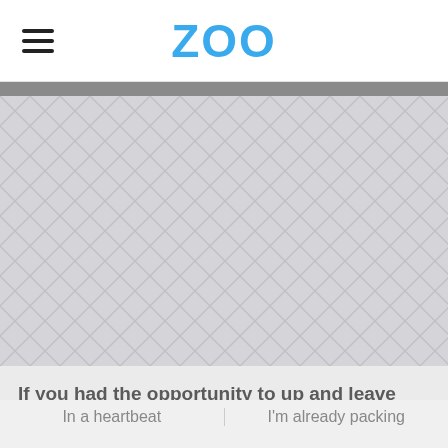ZOO
[Figure (illustration): Large hero image placeholder with a light gray chevron/herringbone geometric pattern background.]
If you had the opportunity to up and leave your current situation, would you take it?
In a heartbeat
I'm already packing